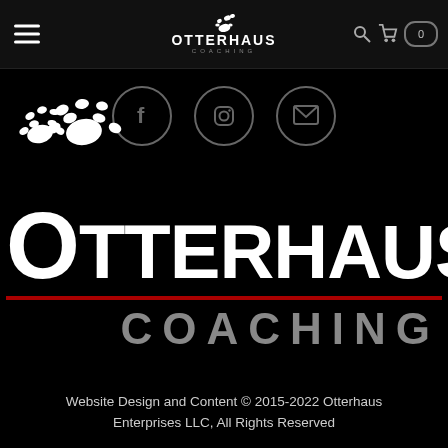Otterhaus Coaching — navigation bar with hamburger menu, logo, search, cart (0)
[Figure (logo): Three social media icons in dark circles: Facebook (f), Instagram (camera), Email (envelope), gray outlined circles on black background]
[Figure (logo): Otterhaus Coaching large logo with white paw prints above the O, white bold text OTTERHAUS, red horizontal line, gray spaced text COACHING on black background]
Website Design and Content © 2015-2022 Otterhaus Enterprises LLC, All Rights Reserved